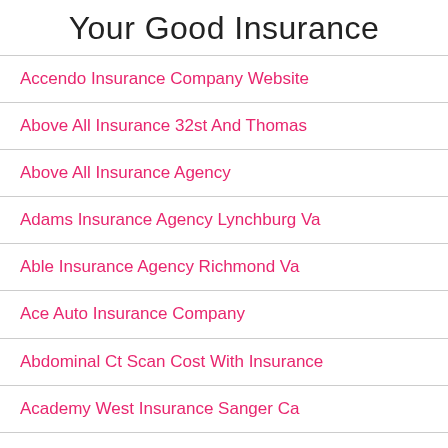Your Good Insurance
Accendo Insurance Company Website
Above All Insurance 32st And Thomas
Above All Insurance Agency
Adams Insurance Agency Lynchburg Va
Able Insurance Agency Richmond Va
Ace Auto Insurance Company
Abdominal Ct Scan Cost With Insurance
Academy West Insurance Sanger Ca
Aaaa Auto Insurance Meme
Accounts Receivable Insurance Canada
Academy West Insurance Reedley